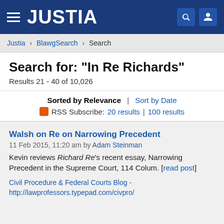JUSTIA
Justia > BlawgSearch > Search
Search for: "In Re Richards"
Results 21 - 40 of 10,026
Sorted by Relevance | Sort by Date
RSS Subscribe: 20 results | 100 results
Walsh on Re on Narrowing Precedent
11 Feb 2015, 11:20 am by Adam Steinman
Kevin reviews Richard Re's recent essay, Narrowing Precedent in the Supreme Court, 114 Colum. [read post]
Civil Procedure & Federal Courts Blog - http://lawprofessors.typepad.com/civpro/